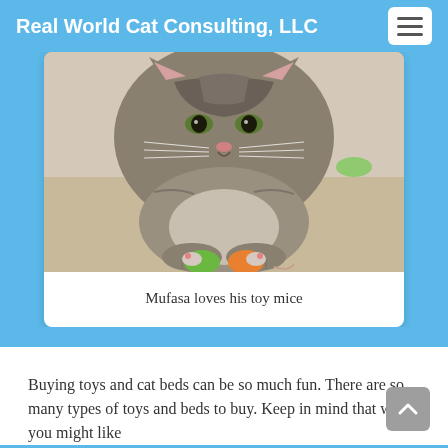Real World Cat Consulting, LLC
[Figure (photo): A tabby cat lying down with two small toy mice (one green, one orange) held between its front paws on a carpet floor. The cat is looking directly at the camera with green eyes.]
Mufasa loves his toy mice
Buying toys and cat beds can be so much fun. There are so many types of toys and beds to buy. Keep in mind that what you might like